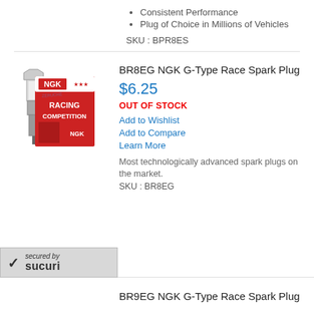Consistent Performance
Plug of Choice in Millions of Vehicles
SKU : BPR8ES
BR8EG NGK G-Type Race Spark Plug
$6.25
OUT OF STOCK
Add to Wishlist
Add to Compare
Learn More
Most technologically advanced spark plugs on the market.
SKU : BR8EG
[Figure (photo): NGK Racing Competition spark plug with silver spark plug and red NGK box]
secured by SUCURI
BR9EG NGK G-Type Race Spark Plug